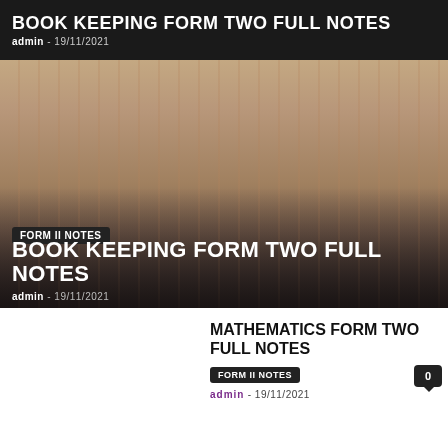BOOK KEEPING FORM TWO FULL NOTES
admin - 19/11/2021
[Figure (photo): Photo of stacked books with reddish-pink spines, viewed from the side, with dark overlay at bottom]
FORM II NOTES
BOOK KEEPING FORM TWO FULL NOTES
admin - 19/11/2021
MATHEMATICS FORM TWO FULL NOTES
FORM II NOTES
admin - 19/11/2021